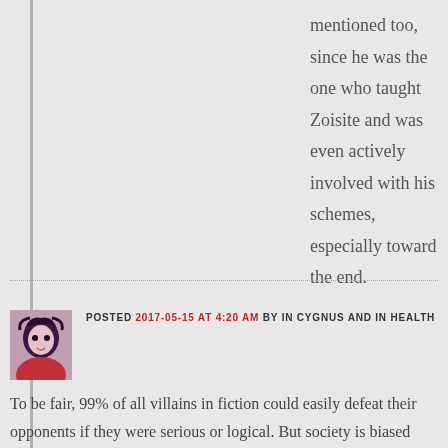mentioned too, since he was the one who taught Zoisite and was even actively involved with his schemes, especially toward the end.
POSTED 2017-05-15 AT 4:20 AM BY IN CYGNUS AND IN HEALTH
To be fair, 99% of all villains in fiction could easily defeat their opponents if they were serious or logical. But society is biased towards good triumphing at the expense of